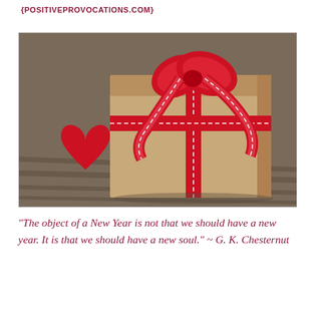{POSITIVEPROVOCATIONS.COM}
[Figure (photo): A kraft paper wrapped gift box tied with a red ribbon with white stitching and a large bow, with a red felt heart leaning against it, placed on a wooden surface.]
“The object of a New Year is not that we should have a new year. It is that we should have a new soul.” ~ G. K. Chesternut